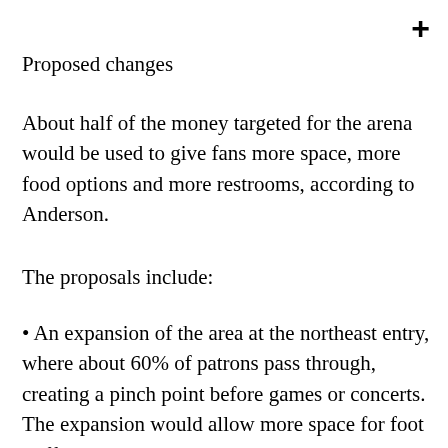+
Proposed changes
About half of the money targeted for the arena would be used to give fans more space, more food options and more restrooms, according to Anderson.
The proposals include:
• An expansion of the area at the northeast entry, where about 60% of patrons pass through, creating a pinch point before games or concerts. The expansion would allow more space for foot traffic. Planners also want to move the souvenir store to that vicinity and reset up food courts to...